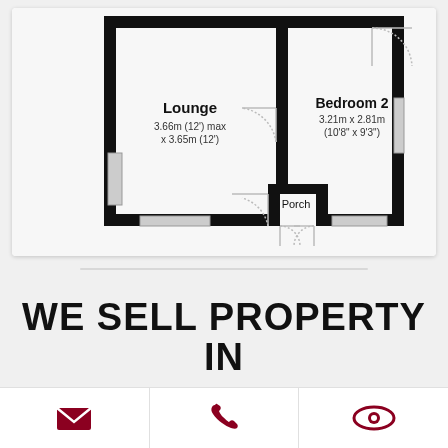[Figure (engineering-diagram): Floor plan showing Lounge (3.66m (12') max x 3.65m (12')) and Bedroom 2 (3.21m x 2.81m (10'8" x 9'3")), with a Porch entry at bottom center. Walls drawn in thick black lines, doors shown as arcs, windows as grey bars.]
WE SELL PROPERTY IN